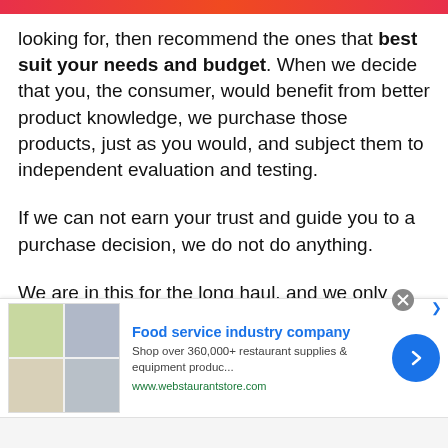[Figure (other): Top banner/header bar with orange-red gradient color, partially visible logo/branding]
looking for, then recommend the ones that best suit your needs and budget. When we decide that you, the consumer, would benefit from better product knowledge, we purchase those products, just as you would, and subject them to independent evaluation and testing.

If we can not earn your trust and guide you to a purchase decision, we do not do anything.

We are in this for the long haul, and we only
[Figure (other): Advertisement banner for Food service industry company (webstaurantstore.com). Shows product images (food, kitchen equipment), text 'Food service industry company', 'Shop over 360,000+ restaurant supplies & equipment produc...', 'www.webstaurantstore.com', blue circular arrow button, close X button.]